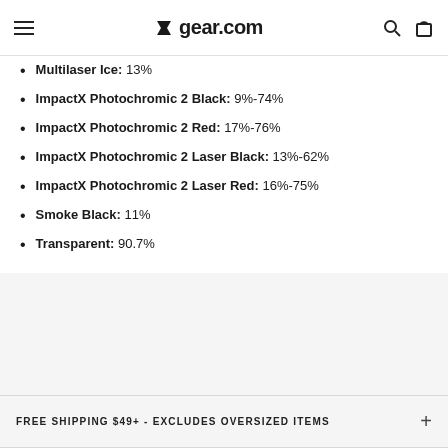gear.com
Multilaser Ice: 13%
ImpactX Photochromic 2 Black: 9%-74%
ImpactX Photochromic 2 Red: 17%-76%
ImpactX Photochromic 2 Laser Black: 13%-62%
ImpactX Photochromic 2 Laser Red: 16%-75%
Smoke Black: 11%
Transparent: 90.7%
FREE SHIPPING $49+ - EXCLUDES OVERSIZED ITEMS